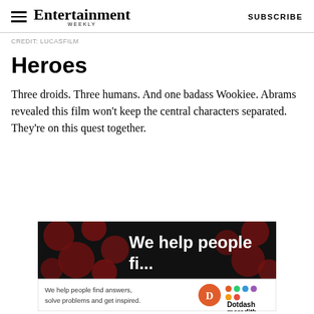Entertainment Weekly  SUBSCRIBE
CREDIT: LUCASFILM
Heroes
Three droids. Three humans. And one badass Wookiee. Abrams revealed this film won't keep the central characters separated. They're on this quest together.
[Figure (infographic): Advertisement banner: 'We help people' in white bold text on black background with dark red circles/dots pattern. Below: white footer strip with text 'We help people find answers, solve problems and get inspired.' alongside Dotdash Meredith logo.]